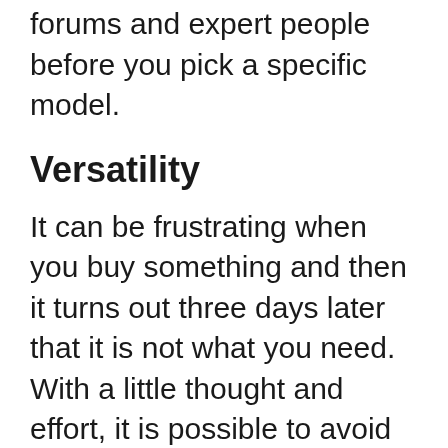forums and expert people before you pick a specific model.
Versatility
It can be frustrating when you buy something and then it turns out three days later that it is not what you need. With a little thought and effort, it is possible to avoid this by purchasing a versatile product that has multiple uses. You can use one product for many purposes. This can save time on products that may not get used up quickly.